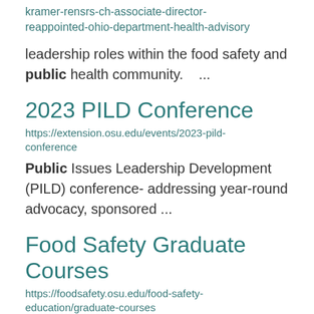kramer-rensrs-ch-associate-director-reappointed-ohio-department-health-advisory
leadership roles within the food safety and public health community. ...
2023 PILD Conference
https://extension.osu.edu/events/2023-pild-conference
Public Issues Leadership Development (PILD) conference- addressing year-round advocacy, sponsored ...
Food Safety Graduate Courses
https://foodsafety.osu.edu/food-safety-education/graduate-courses
to consumers. Demonstration of food safety messages for all phases and...